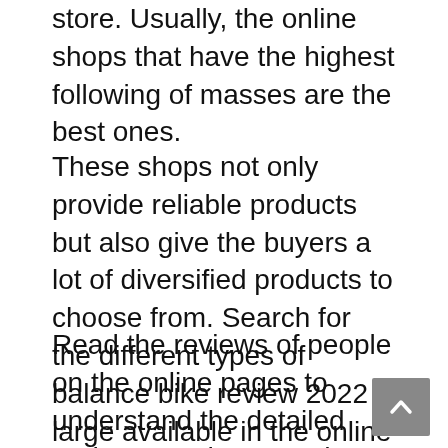store. Usually, the online shops that have the highest following of masses are the best ones.
These shops not only provide reliable products but also give the buyers a lot of diversified products to choose from. Search for the different types of balance bike review 2022 large available in the online store and find ones to choose from.
Read the reviews of people on the online pages to understand the detailed and nuanced pros and cons that entail this particular balance bike review 2022 large. You can also understand through other people's reviews whether a particular balance bike review 2022 large fits your